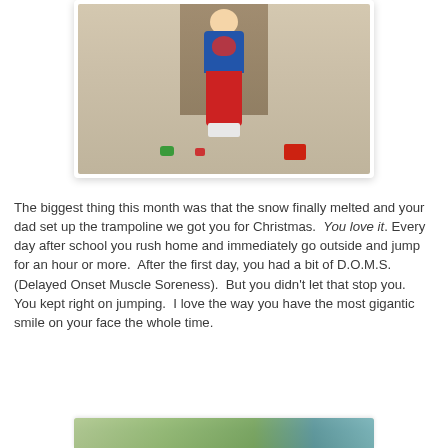[Figure (photo): A child wearing a Captain America blue shirt and red pants standing on beige carpet indoors, with toy cars on the floor in front of them. A doorway is visible in the background.]
The biggest thing this month was that the snow finally melted and your dad set up the trampoline we got you for Christmas.  You love it. Every day after school you rush home and immediately go outside and jump for an hour or more.  After the first day, you had a bit of D.O.M.S. (Delayed Onset Muscle Soreness).  But you didn't let that stop you.  You kept right on jumping.  I love the way you have the most gigantic smile on your face the whole time.
[Figure (photo): Partial view of another photo at the bottom of the page, appears to show outdoor scene with green and blue tones.]